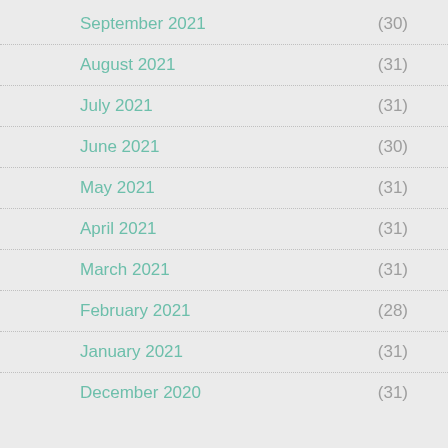September 2021 (30)
August 2021 (31)
July 2021 (31)
June 2021 (30)
May 2021 (31)
April 2021 (31)
March 2021 (31)
February 2021 (28)
January 2021 (31)
December 2020 (31)